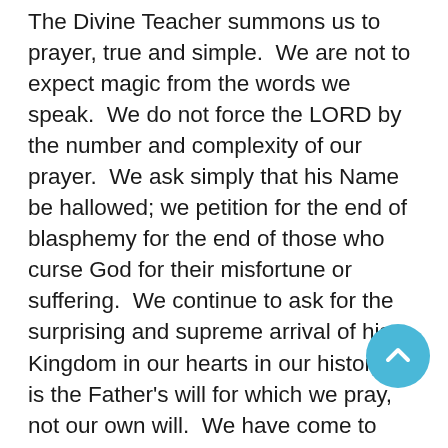The Divine Teacher summons us to prayer, true and simple. We are not to expect magic from the words we speak. We do not force the LORD by the number and complexity of our prayer. We ask simply that his Name be hallowed; we petition for the end of blasphemy for the end of those who curse God for their misfortune or suffering. We continue to ask for the surprising and supreme arrival of his Kingdom in our hearts in our history. It is the Father's will for which we pray, not our own will. We have come to know and believe in the love he has for us; the Father will not refuse the Holy Spirit from anyone who asks. Indeed, it is this Holy Spirit that enables us to take on the Father's Will, to have the obedience of the Son. As his will unfolds, as his Kingdom comes, as his Name is spoken with honor, heaven and earth unite and a new creation begins. From the source of Manna all along the exodus we can depend on the New Manna for our daily stone through food meant to nourish his...